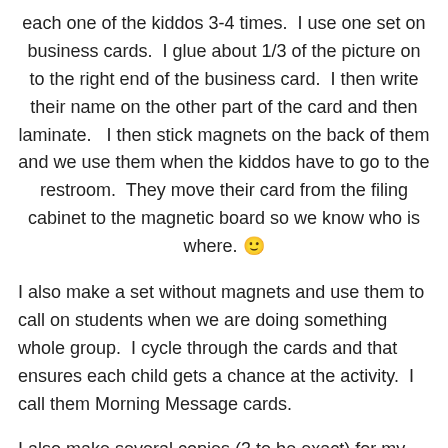each one of the kiddos 3-4 times.  I use one set on business cards.  I glue about 1/3 of the picture on to the right end of the business card.  I then write their name on the other part of the card and then laminate.   I then stick magnets on the back of them and we use them when the kiddos have to go to the restroom.  They move their card from the filing cabinet to the magnetic board so we know who is where. 🙂
I also make a set without magnets and use them to call on students when we are doing something whole group.  I cycle through the cards and that ensures each child gets a chance at the activity.  I call them Morning Message cards.
I also make several copies (3 to be exact) for my Literacy and Math Work Stations.  We are going to be doing 2 Literacy Work Stations this year, so I will have two pictures